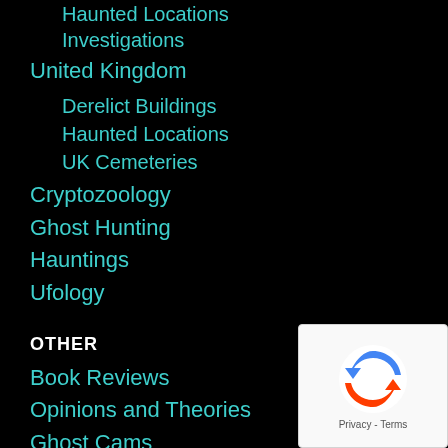Haunted Locations
Investigations
United Kingdom
Derelict Buildings
Haunted Locations
UK Cemeteries
Cryptozoology
Ghost Hunting
Hauntings
Ufology
OTHER
Book Reviews
Opinions and Theories
Ghost Cams
News Articles
[Figure (logo): reCAPTCHA logo with Privacy and Terms text]